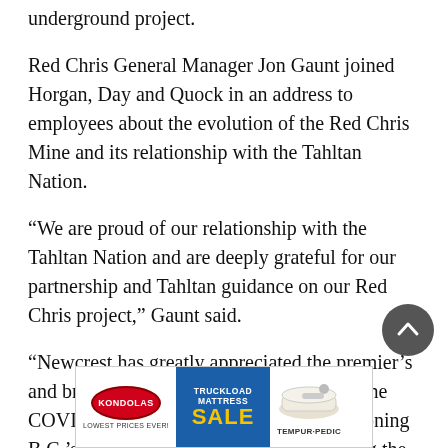underground project.
Red Chris General Manager Jon Gaunt joined Horgan, Day and Quock in an address to employees about the evolution of the Red Chris Mine and its relationship with the Tahltan Nation.
“We are proud of our relationship with the Tahltan Nation and are deeply grateful for our partnership and Tahltan guidance on our Red Chris project,” Gaunt said.
“Newcrest has greatly appreciated the premier’s and broader provincial support managing the COVID-19 pandemic and now with positioning B.C.’s mining industry as key to supporting the global transition to a green
[Figure (other): Advertisement banner for Kondolas Truckload Mattress Sale featuring Tempur-Pedic branding]